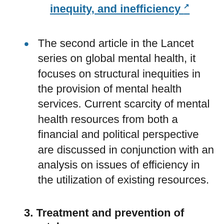inequity, and inefficiency ↗
The second article in the Lancet series on global mental health, it focuses on structural inequities in the provision of mental health services. Current scarcity of mental health resources from both a financial and political perspective are discussed in conjunction with an analysis on issues of efficiency in the utilization of existing resources.
3. Treatment and prevention of mental